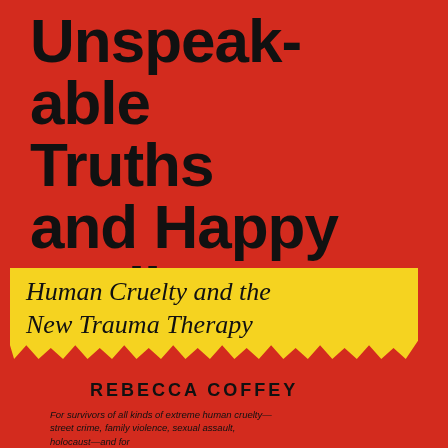Unspeak- able Truths and Happy Endings
Human Cruelty and the New Trauma Therapy
REBECCA COFFEY
For survivors of all kinds of extreme human cruelty— street crime, family violence, sexual assault, holocaust—and for